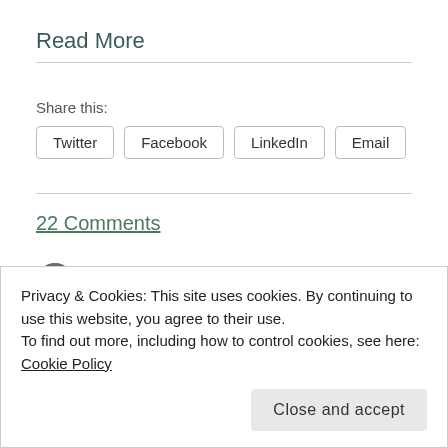Read More
Share this:
Twitter  Facebook  LinkedIn  Email
22 Comments
John Battelle /
February 28, 2014  /  Joints After Midnight & Rants  Media/Tech
Privacy & Cookies: This site uses cookies. By continuing to use this website, you agree to their use.
To find out more, including how to control cookies, see here: Cookie Policy
Close and accept